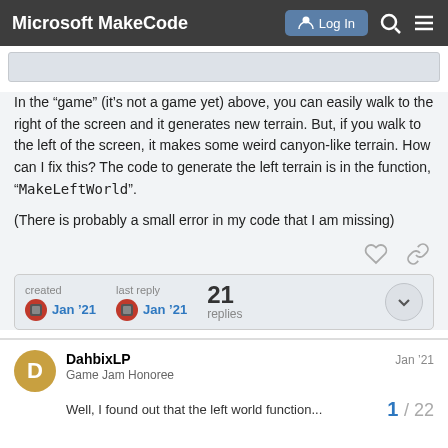Microsoft MakeCode
[Figure (screenshot): Partial screenshot of a game/terrain preview at the top of the post]
In the “game” (it’s not a game yet) above, you can easily walk to the right of the screen and it generates new terrain. But, if you walk to the left of the screen, it makes some weird canyon-like terrain. How can I fix this? The code to generate the left terrain is in the function, “MakeLeftWorld”.
(There is probably a small error in my code that I am missing)
created Jan '21   last reply Jan '21   21 replies
DahbixLP  Game Jam Honoree  Jan '21
1 / 22
Well, I found out that the left world function...